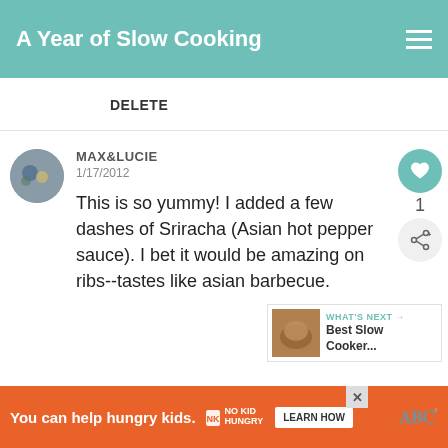A Year of Slow Cooking
DELETE
MAX&LUCIE
1/17/2012
This is so yummy! I added a few dashes of Sriracha (Asian hot pepper sauce). I bet it would be amazing on ribs--tastes like asian barbecue.
1
WHAT'S NEXT → Best Slow Cooker...
DELETE
You can help hungry kids.
LEARN HOW